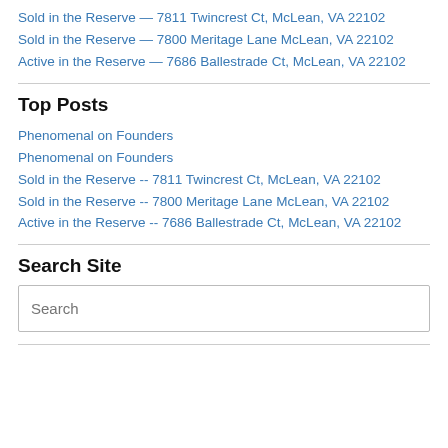Sold in the Reserve — 7811 Twincrest Ct, McLean, VA 22102
Sold in the Reserve — 7800 Meritage Lane McLean, VA 22102
Active in the Reserve — 7686 Ballestrade Ct, McLean, VA 22102
Top Posts
Phenomenal on Founders
Phenomenal on Founders
Sold in the Reserve -- 7811 Twincrest Ct, McLean, VA 22102
Sold in the Reserve -- 7800 Meritage Lane McLean, VA 22102
Active in the Reserve -- 7686 Ballestrade Ct, McLean, VA 22102
Search Site
Search